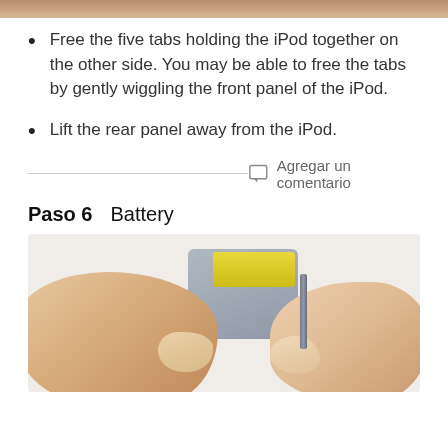[Figure (photo): Top portion of a photo showing hands working on an iPod, cropped at top of page]
Free the five tabs holding the iPod together on the other side. You may be able to free the tabs by gently wiggling the front panel of the iPod.
Lift the rear panel away from the iPod.
Agregar un comentario
Paso 6    Battery
[Figure (photo): Hands holding an iPod open, showing a yellow battery being removed from the device body]